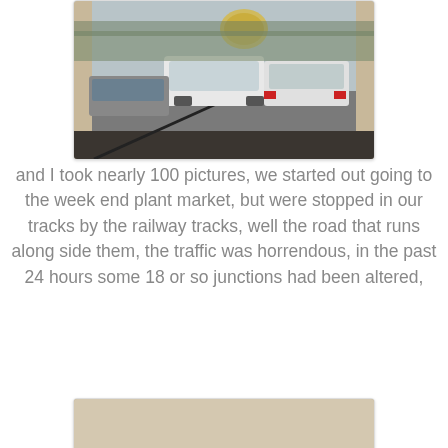[Figure (photo): View from inside a car through windshield showing heavy traffic with multiple cars stopped on a road]
and I took nearly 100 pictures, we started out going to the week end plant market, but were stopped in our tracks by the railway tracks, well the road that runs along side them, the traffic was horrendous, in the past 24 hours some 18 or so junctions had been altered,
[Figure (photo): A bald man wearing sunglasses and a white shirt sitting in driver's seat of a car, smiling and holding the steering wheel]